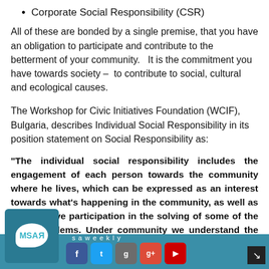Corporate Social Responsibility (CSR)
All of these are bonded by a single premise, that you have an obligation to participate and contribute to the betterment of your community.   It is the commitment you have towards society –  to contribute to social, cultural and ecological causes.
The Workshop for Civic Initiatives Foundation (WCIF), Bulgaria, describes Individual Social Responsibility in its position statement on Social Responsibility as:
"The individual social responsibility includes the engagement of each person towards the community where he lives, which can be expressed as an interest towards what's happening in the community, as well as in the active participation in the solving of some of the local problems. Under community we understand the village, the small town or the residential complex in the big city, where lives every one of us. Each community lives its own life that undergoes a process of development all the time. And everyone of us part in that development in different ways, for taking part in cleaning of the street on which he
MSASR